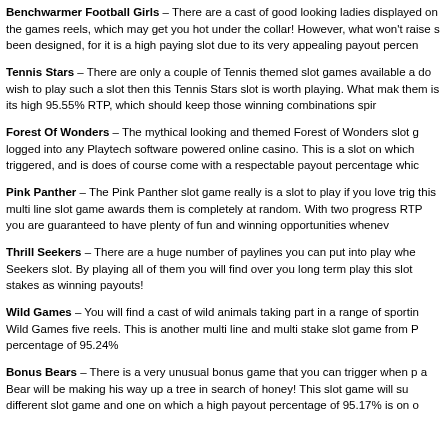Benchwarmer Football Girls – There are a cast of good looking ladies displayed on the games reels, which may get you hot under the collar! However, what won't raise your temperature is the fact that this slot has been designed, for it is a high paying slot due to its very appealing payout percentage.
Tennis Stars – There are only a couple of Tennis themed slot games available and if you do wish to play such a slot then this Tennis Stars slot is worth playing. What makes it stand out from the rest of them is its high 95.55% RTP, which should keep those winning combinations spinning in regularly.
Forest Of Wonders – The mythical looking and themed Forest of Wonders slot game is available when you are logged into any Playtech software powered online casino. This is a slot on which a range of bonus features can be triggered, and is does of course come with a respectable payout percentage which stands at 95.42%.
Pink Panther – The Pink Panther slot game really is a slot to play if you love triggered bonus games as the way this multi line slot game awards them is completely at random. With two progressive jackpots and a very high RTP you are guaranteed to have plenty of fun and winning opportunities whenever you play it.
Thrill Seekers – There are a huge number of paylines you can put into play when playing the Thrill Seekers slot. By playing all of them you will find over you long term play this slot will return back as much of your stakes as winning payouts!
Wild Games – You will find a cast of wild animals taking part in a range of sporting activities on the Wild Games five reels. This is another multi line and multi stake slot game from Playtech and it has a payout percentage of 95.24%
Bonus Bears – There is a very unusual bonus game that you can trigger when playing Bonus Bears as a Bear will be making his way up a tree in search of honey! This slot game will surely appeal to fans of a different slot game and one on which a high payout percentage of 95.17% is on offer.